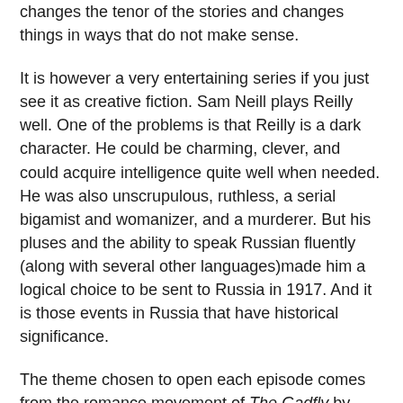changes the tenor of the stories and changes things in ways that do not make sense.
It is however a very entertaining series if you just see it as creative fiction. Sam Neill plays Reilly well. One of the problems is that Reilly is a dark character. He could be charming, clever, and could acquire intelligence quite well when needed. He was also unscrupulous, ruthless, a serial bigamist and womanizer, and a murderer. But his pluses and the ability to speak Russian fluently (along with several other languages)made him a logical choice to be sent to Russia in 1917. And it is those events in Russia that have historical significance.
The theme chosen to open each episode comes from the romance movement of The Gadfly by Dmitri Shostakovich. Personally it seems a bit melancholy for me but considering its setting is well chosen. Reilly's world is shown through the various photographs that flash before us as the tune plays.